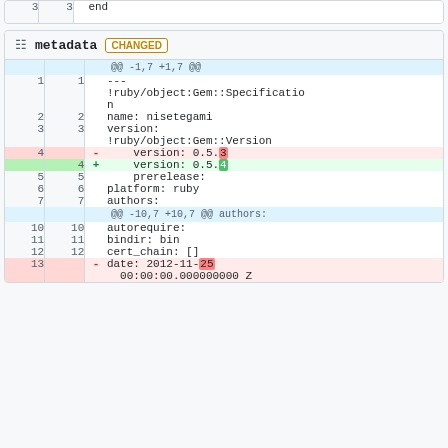3   3   end
metadata  CHANGED
| old | new | sign | code |
| --- | --- | --- | --- |
|  |  |  | @@ -1,7 +1,7 @@ |
| 1 | 1 |  | ---
!ruby/object:Gem::Specification
n |
| 2 | 2 |  | name: nisetegami |
| 3 | 3 |  | version:
!ruby/object:Gem::Version |
| 4 |  | - |     version: 0.5.3 |
|  | 4 | + |     version: 0.5.4 |
| 5 | 5 |  |     prerelease: |
| 6 | 6 |  | platform: ruby |
| 7 | 7 |  | authors: |
|  |  |  | @@ -10,7 +10,7 @@ authors: |
| 10 | 10 |  | autorequire: |
| 11 | 11 |  | bindir: bin |
| 12 | 12 |  | cert_chain: [] |
| 13 |  | - | date: 2012-11-25
  00:00:00.000000000 Z |